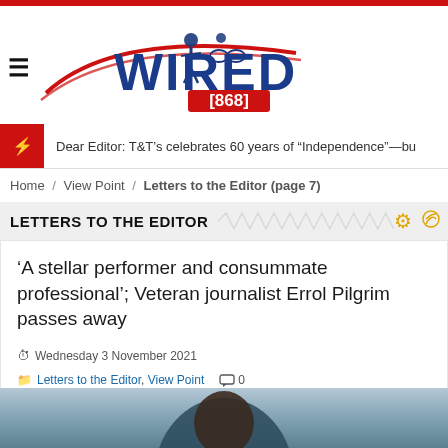[Figure (logo): Wired868 logo with sports figures and red swoosh]
Dear Editor: T&T's celebrates 60 years of "Independence"—bu
Home / View Point / Letters to the Editor (page 7)
LETTERS TO THE EDITOR
'A stellar performer and consummate professional'; Veteran journalist Errol Pilgrim passes away
Wednesday 3 November 2021
Letters to the Editor, View Point  0
[Figure (photo): Partial photo of a man, appears to be Errol Pilgrim]